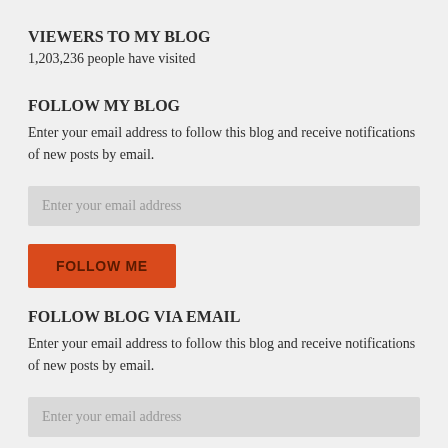VIEWERS TO MY BLOG
1,203,236 people have visited
FOLLOW MY BLOG
Enter your email address to follow this blog and receive notifications of new posts by email.
Enter your email address
FOLLOW ME
FOLLOW BLOG VIA EMAIL
Enter your email address to follow this blog and receive notifications of new posts by email.
Enter your email address